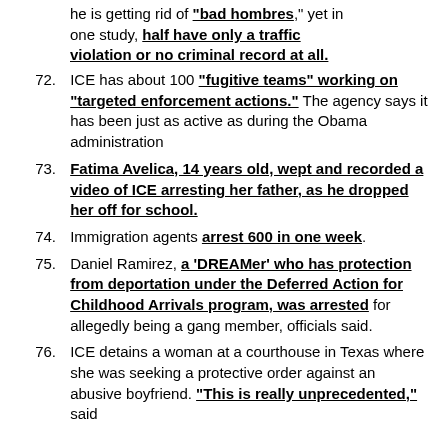he is getting rid of "bad hombres," yet in one study, half have only a traffic violation or no criminal record at all.
72. ICE has about 100 "fugitive teams" working on "targeted enforcement actions." The agency says it has been just as active as during the Obama administration
73. Fatima Avelica, 14 years old, wept and recorded a video of ICE arresting her father, as he dropped her off for school.
74. Immigration agents arrest 600 in one week.
75. Daniel Ramirez, a 'DREAMer' who has protection from deportation under the Deferred Action for Childhood Arrivals program, was arrested for allegedly being a gang member, officials said.
76. ICE detains a woman at a courthouse in Texas where she was seeking a protective order against an abusive boyfriend. "This is really unprecedented," said